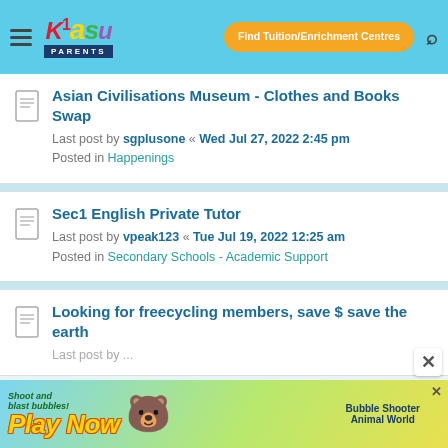Kiasu Parents - Find Tuition/Enrichment Centres
Asian Civilisations Museum - Clothes and Books Swap
Last post by sgplusone « Wed Jul 27, 2022 2:45 pm
Posted in Happenings
Sec1 English Private Tutor
Last post by vpeak123 « Tue Jul 19, 2022 12:25 am
Posted in Secondary Schools - Academic Support
Looking for freecycling members, save $ save the earth
[Figure (screenshot): Mobile game advertisement banner at bottom of page reading 'Play Now' with bubble shooter game imagery]